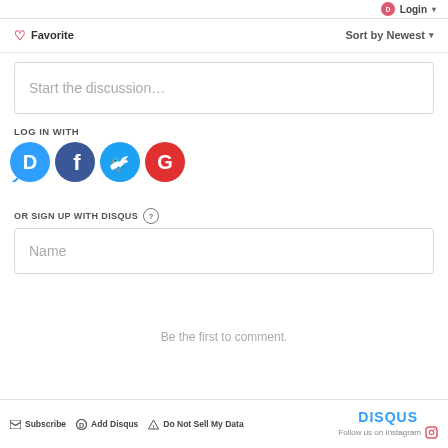[Figure (screenshot): Disqus comment widget UI showing login area, discussion text box, social login icons (Disqus, Facebook, Twitter, Google), sign up with Disqus section, Name input field, 'Be the first to comment.' message, and footer with Subscribe, Add Disqus, Do Not Sell My Data links and DISQUS branding with Follow us on Instagram.]
♡ Favorite
Sort by Newest ▾
Start the discussion...
LOG IN WITH
OR SIGN UP WITH DISQUS ?
Name
Be the first to comment.
✉ Subscribe  ⓓ Add Disqus  ⚠ Do Not Sell My Data  DISQUS  Follow us on Instagram